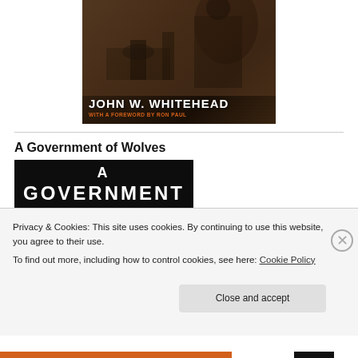[Figure (photo): Book cover showing a sepia-toned image with soldiers or figures in a wartime/dark setting. Text overlay reads 'JOHN W. WHITEHEAD' in white bold uppercase, and below in orange 'WITH A FOREWORD BY RON PAUL']
A Government of Wolves
[Figure (photo): Partial book cover of 'A Government of Wolves' — dark background with large white uppercase text 'A' and 'GOVERNMENT' partially visible]
Privacy & Cookies: This site uses cookies. By continuing to use this website, you agree to their use.
To find out more, including how to control cookies, see here: Cookie Policy
Close and accept